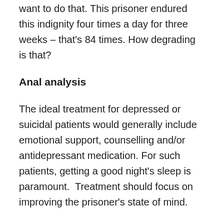want to do that. This prisoner endured this indignity four times a day for three weeks – that's 84 times. How degrading is that?
Anal analysis
The ideal treatment for depressed or suicidal patients would generally include emotional support, counselling and/or antidepressant medication. For such patients, getting a good night's sleep is paramount.  Treatment should focus on improving the prisoner's state of mind.
But the prisoner is not really human. He's barely an animal, so the treatment is focused on his anus – and keeping him awake for days on end. This is an appalling abuse of power – and a breach of the